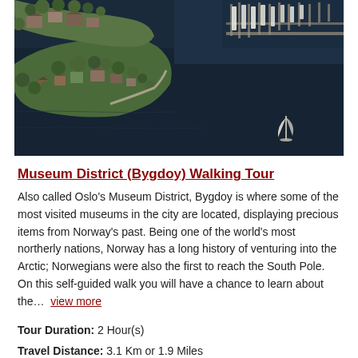[Figure (photo): Aerial photograph of Oslo's Bygdoy peninsula showing a marina with boats in the upper right, residential areas with trees and buildings on a peninsula, and dark blue water surrounding it. A sailboat is visible in the lower right portion of the water.]
Museum District (Bygdoy) Walking Tour
Also called Oslo's Museum District, Bygdoy is where some of the most visited museums in the city are located, displaying precious items from Norway's past. Being one of the world's most northerly nations, Norway has a long history of venturing into the Arctic; Norwegians were also the first to reach the South Pole. On this self-guided walk you will have a chance to learn about the… view more
Tour Duration: 2 Hour(s)
Travel Distance: 3.1 Km or 1.9 Miles